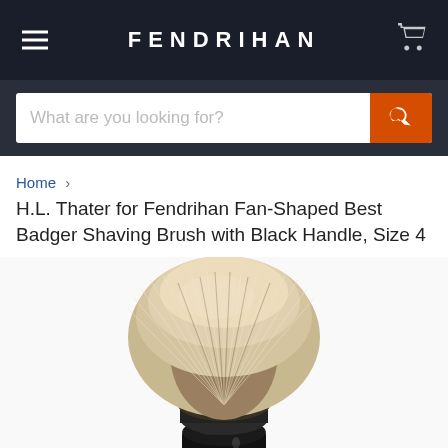FENDRIHAN
What are you looking for?
Home > H.L. Thater for Fendrihan Fan-Shaped Best Badger Shaving Brush with Black Handle, Size 4
H.L. Thater for Fendrihan Fan-Shaped Best Badger Shaving Brush with Black Handle, Size 4
[Figure (photo): Photo of a fan-shaped best badger shaving brush with black handle, viewed from slightly above. The brush has a wide, fan-shaped knot of silvery-gray badger hair with darker roots, and a shiny black rounded handle visible at the base.]